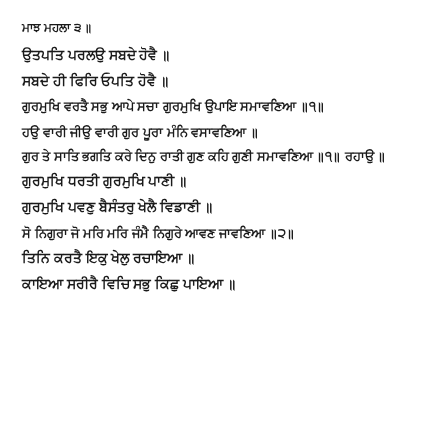ਮਾਝ ਮਹਲਾ ੩ ॥
ਉਤਪਤਿ ਪਰਲਉ ਸਬਦੇ ਹੋਵੈ ॥
ਸਬਦੇ ਹੀ ਫਿਰਿ ਓਪਤਿ ਹੋਵੈ ॥
ਗੁਰਮੁਖਿ ਵਰਤੈ ਸਭੁ ਆਪੇ ਸਚਾ ਗੁਰਮੁਖਿ ਉਪਾਇ ਸਮਾਵਣਿਆ ॥੧॥
ਹਉ ਵਾਰੀ ਜੀਉ ਵਾਰੀ ਗੁਰ ਪੂਰਾ ਮੰਨਿ ਵਸਾਵਣਿਆ ॥
ਗੁਰ ਤੇ ਸਾਤਿ ਭਗਤਿ ਕਰੇ ਦਿਨੁ ਰਾਤੀ ਗੁਣ ਕਹਿ ਗੁਣੀ ਸਮਾਵਣਿਆ ॥੧॥ ਰਹਾਉ ॥
ਗੁਰਮੁਖਿ ਧਰਤੀ ਗੁਰਮੁਖਿ ਪਾਣੀ ॥
ਗੁਰਮੁਖਿ ਪਵਣੁ ਬੈਸੰਤਰੁ ਖੇਲੈ ਵਿਡਾਣੀ ॥
ਸੋ ਨਿਗੁਰਾ ਜੋ ਮਰਿ ਮਰਿ ਜੰਮੈ ਨਿਗੁਰੇ ਆਵਣ ਜਾਵਣਿਆ ॥੨॥
ਤਿਨਿ ਕਰਤੈ ਇਕੁ ਖੇਲੁ ਰਚਾਇਆ ॥
ਕਾਇਆ ਸਰੀਰੈ ਵਿਚਿ ਸਭੁ ਕਿਛੁ ਪਾਇਆ ॥